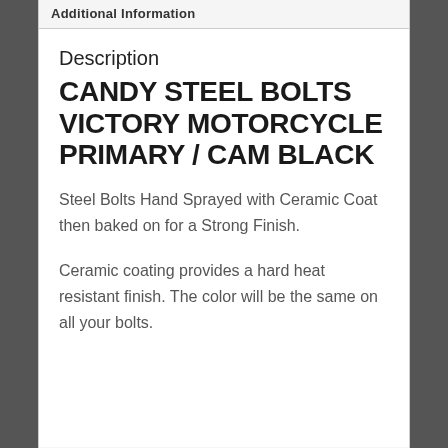Additional Information
Description
CANDY STEEL BOLTS VICTORY MOTORCYCLE PRIMARY / CAM BLACK
Steel Bolts Hand Sprayed with Ceramic Coat then baked on for a Strong Finish.
Ceramic coating provides a hard heat resistant finish. The color will be the same on all your bolts.